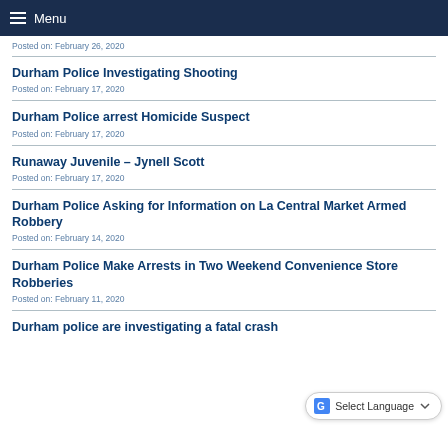Menu
Posted on: February 26, 2020
Durham Police Investigating Shooting
Posted on: February 17, 2020
Durham Police arrest Homicide Suspect
Posted on: February 17, 2020
Runaway Juvenile – Jynell Scott
Posted on: February 17, 2020
Durham Police Asking for Information on La Central Market Armed Robbery
Posted on: February 14, 2020
Durham Police Make Arrests in Two Weekend Convenience Store Robberies
Posted on: February 11, 2020
Durham police are investigating a fatal crash